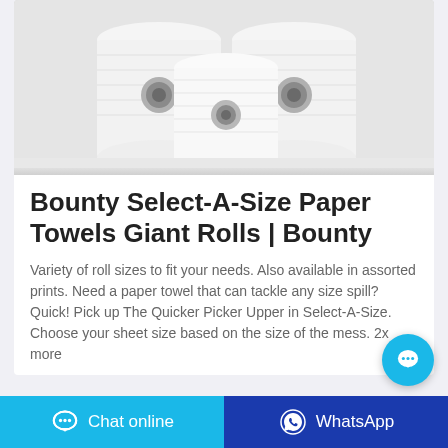[Figure (photo): Three white paper towel rolls arranged together against a light gray/white background, two in back and one in front]
Bounty Select-A-Size Paper Towels Giant Rolls | Bounty
Variety of roll sizes to fit your needs. Also available in assorted prints. Need a paper towel that can tackle any size spill? Quick! Pick up The Quicker Picker Upper in Select-A-Size. Choose your sheet size based on the size of the mess. 2x more